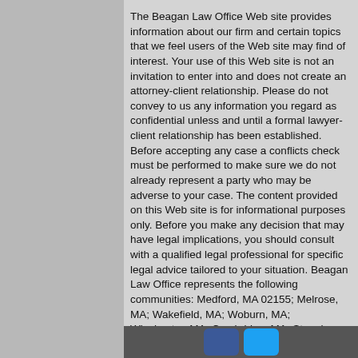The Beagan Law Office Web site provides information about our firm and certain topics that we feel users of the Web site may find of interest. Your use of this Web site is not an invitation to enter into and does not create an attorney-client relationship. Please do not convey to us any information you regard as confidential unless and until a formal lawyer-client relationship has been established. Before accepting any case a conflicts check must be performed to make sure we do not already represent a party who may be adverse to your case. The content provided on this Web site is for informational purposes only. Before you make any decision that may have legal implications, you should consult with a qualified legal professional for specific legal advice tailored to your situation. Beagan Law Office represents the following communities: Medford, MA 02155; Melrose, MA; Wakefield, MA; Woburn, MA; Winchester, MA; Cambridge, MA; Stoneham, MA; Malden, MA 02148 Arlington, MA; Saugus, MA; Everett, MA; Revere, MA; Chelsea, MA; Somerville, MA; Boston, MA; Winthrop, MA; Reading, MA; Willimington, Lexington, MA, Concord, MA.
[Figure (other): Social media icons (Facebook blue and Twitter light blue) on a dark bar at the bottom]